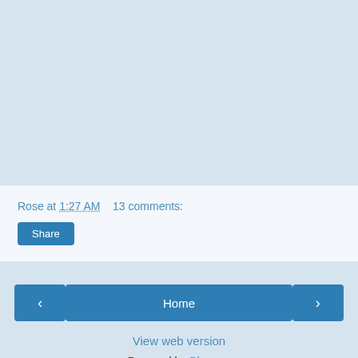Rose at 1:27 AM    13 comments:
Share
‹
Home
›
View web version
Powered by Blogger.